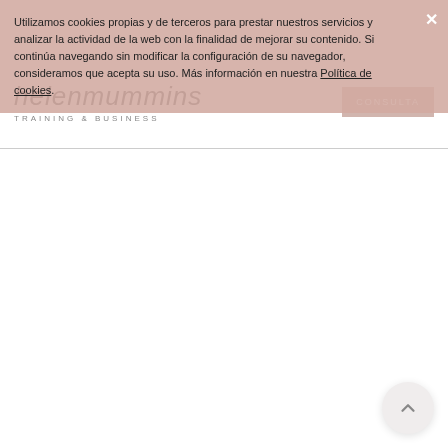Utilizamos cookies propias y de terceros para prestar nuestros servicios y analizar la actividad de la web con la finalidad de mejorar su contenido. Si continúa navegando sin modificar la configuración de su navegador, consideramos que acepta su uso. Más información en nuestra Política de cookies.
[Figure (screenshot): Website navigation bar with logo 'helenmummins' in italic script font, subtitle 'TRAINING & BUSINESS', and a partial button visible on right. Partially obscured by cookie consent banner.]